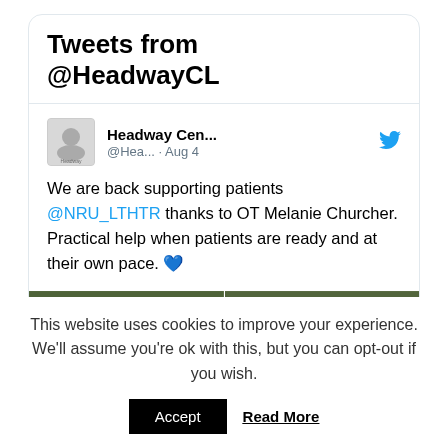Tweets from @HeadwayCL
Headway Cen... @Hea... · Aug 4
We are back supporting patients @NRU_LTHTR thanks to OT Melanie Churcher. Practical help when patients are ready and at their own pace. 💙
[Figure (photo): Two side-by-side outdoor photos showing people standing in a garden area, appearing to be healthcare or support workers with patients.]
This website uses cookies to improve your experience. We'll assume you're ok with this, but you can opt-out if you wish.
Accept   Read More